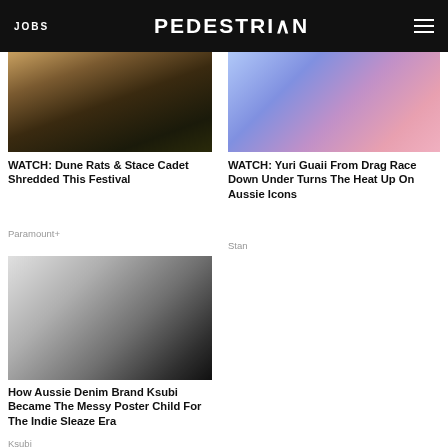JOBS | PEDESTRIAN | (menu)
[Figure (photo): Photo of Dune Rats and Stace Cadet at a festival]
WATCH: Dune Rats & Stace Cadet Shredded This Festival
Paramount+
[Figure (photo): Photo of Yuri Guaii from Drag Race Down Under]
WATCH: Yuri Guaii From Drag Race Down Under Turns The Heat Up On Aussie Icons
Stan
[Figure (photo): Black and white photo related to Ksubi brand article]
How Aussie Denim Brand Ksubi Became The Messy Poster Child For The Indie Sleaze Era
Ksubi